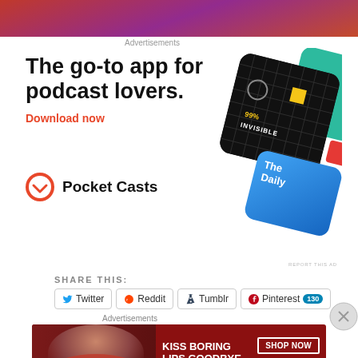[Figure (photo): Top partial image with red/purple gradient colors]
Advertisements
[Figure (infographic): Pocket Casts advertisement: 'The go-to app for podcast lovers. Download now' with app cards showing 99% Invisible, The Daily, and other podcast artwork]
SHARE THIS:
Twitter  Reddit  Tumblr  Pinterest 130
Advertisements
[Figure (photo): Macy's advertisement: KISS BORING LIPS GOODBYE - SHOP NOW with woman's face showing red lips]